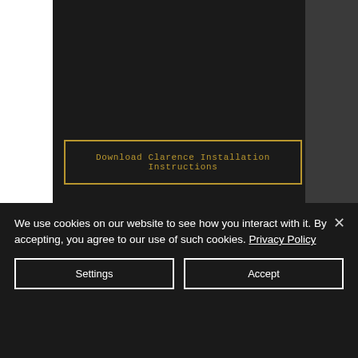[Figure (screenshot): Dark website background with white panel on left and dark grey areas]
Download Clarence Installation Instructions
We use cookies on our website to see how you interact with it. By accepting, you agree to our use of such cookies. Privacy Policy
Settings
Accept